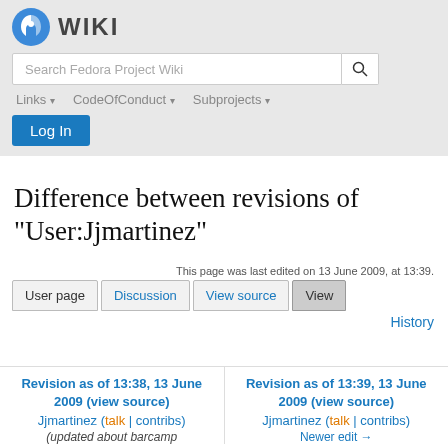Fedora Wiki
Difference between revisions of "User:Jjmartinez"
This page was last edited on 13 June 2009, at 13:39.
User page | Discussion | View source | View | History
Revision as of 13:38, 13 June 2009 (view source)
Jjmartinez (talk | contribs)
(updated about barcamp
Revision as of 13:39, 13 June 2009 (view source)
Jjmartinez (talk | contribs)
Newer edit →